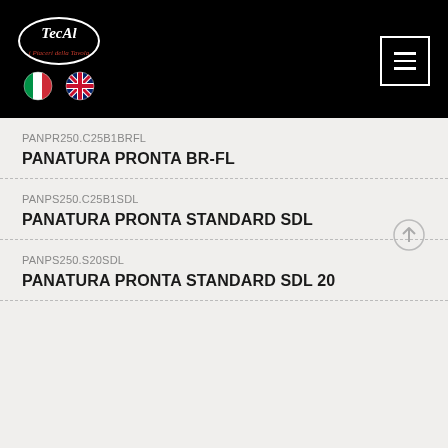[Figure (logo): TecAl logo with oval border and tagline 'i Piaceri della Tavola' in red italic, accompanied by Italian and UK flag icons and a hamburger menu button on a black header background]
PANPR250.C25B1BRFL
PANATURA PRONTA BR-FL
PANPS250.C25B1SDL
PANATURA PRONTA STANDARD SDL
PANPS250.S20SDL
PANATURA PRONTA STANDARD SDL 20